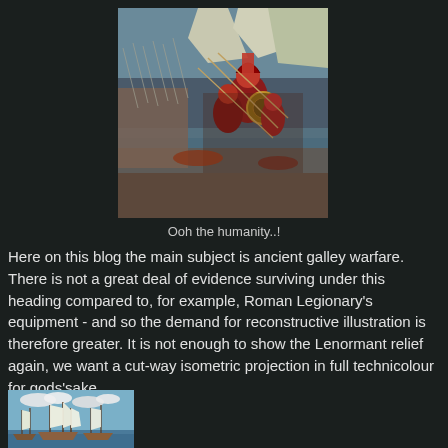[Figure (illustration): Ancient battle scene painting showing warriors in red armor fighting near a river or shore, with mountains and cliffs in the background, many soldiers with spears and shields]
Ooh the humanity..!
Here on this blog the main subject is ancient galley warfare. There is not a great deal of evidence surviving under this heading compared to, for example, Roman Legionary's equipment - and so the demand for reconstructive illustration is therefore greater. It is not enough to show the Lenormant relief again, we want a cut-way isometric projection in full technicolour for gods'sake.
[Figure (illustration): Naval battle or fleet scene showing multiple tall sailing ships with white sails in a harbor or bay with blue sky and clouds]